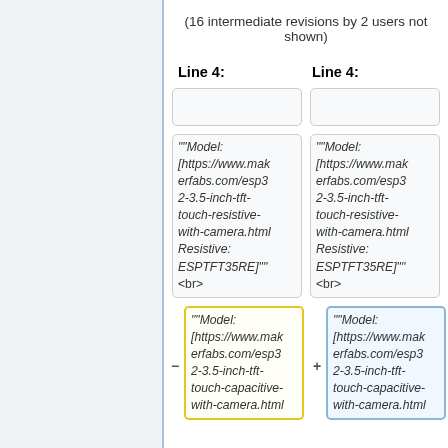(16 intermediate revisions by 2 users not shown)
Line 4:	Line 4:
"'Model: [https://www.makerfabs.com/esp32-3.5-inch-tft-touch-resistive-with-camera.html Resistive: ESPTFT35RE]"'
<br>
"'Model: [https://www.makerfabs.com/esp32-3.5-inch-tft-touch-resistive-with-camera.html Resistive: ESPTFT35RE]"'
<br>
"'Model: [https://www.makerfabs.com/esp32-3.5-inch-tft-touch-capacitive-with-camera.html
"'Model: [https://www.makerfabs.com/esp32-3.5-inch-tft-touch-capacitive-with-camera.html